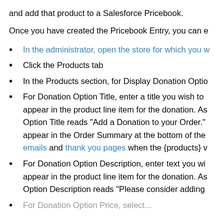and add that product to a Salesforce Pricebook.
Once you have created the Pricebook Entry, you can e
In the administrator, open the store for which you w
Click the Products tab
In the Products section, for Display Donation Optio
For Donation Option Title, enter a title you wish to appear in the product line item for the donation. As Option Title reads "Add a Donation to your Order." appear in the Order Summary at the bottom of the emails and thank you pages when the {products} v
For Donation Option Description, enter text you wi appear in the product line item for the donation. As Option Description reads "Please consider adding
For Donation Option Price, select...